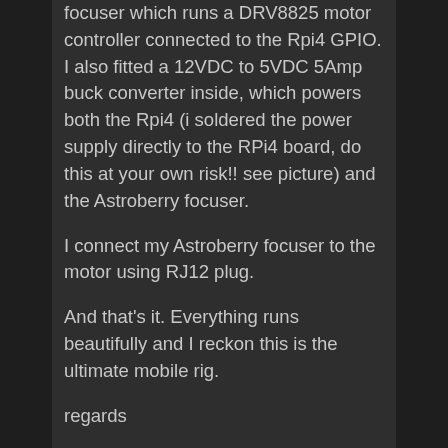focuser which runs a DRV8825 motor controller connected to the Rpi4 GPIO. I also fitted a 12VDC to 5VDC 5Amp buck converter inside, which powers both the Rpi4 (i soldered the power supply directly to the RPi4 board, do this at your own risk!! see picture) and the Astroberry focuser.
I connect my Astroberry focuser to the motor using RJ12 plug.
And that's it. Everything runs beautifully and I reckon this is the ultimate mobile rig.
regards